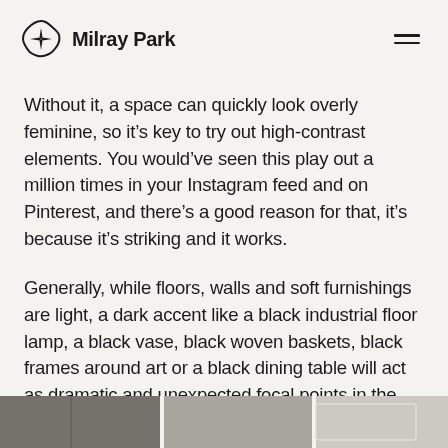Milray Park
Without it, a space can quickly look overly feminine, so it’s key to try out high-contrast elements. You would’ve seen this play out a million times in your Instagram feed and on Pinterest, and there’s a good reason for that, it’s because it’s striking and it works.
Generally, while floors, walls and soft furnishings are light, a dark accent like a black industrial floor lamp, a black vase, black woven baskets, black frames around art or a black dining table will act as dramatic and unexpected focal points in the home.
[Figure (photo): Partial view of interior design photograph at the bottom of the page, showing a dark and light toned room scene]